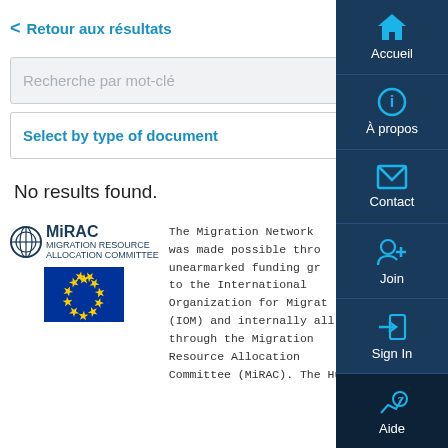< Retour aux résultats
Recherche par mot-clé
Select by type of document
No results found.
[Figure (logo): MiRAC logo (Migration Resource Allocation Committee) and EU flag]
The Migration Network was made possible through unearmarked funding granted to the International Organization for Migration (IOM) and internally allocated through the Migration Resource Allocation Committee (MiRAC). The Hub
[Figure (screenshot): Right sidebar navigation with Accueil, À propos, Contact, Join, Sign In, and Aide buttons on dark blue background]